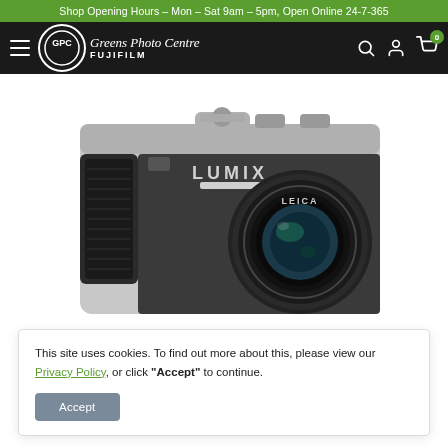Shop Opening Hours – Mon – Sat 9am – 5pm, Open Online 24-7-365
[Figure (logo): Greens Photo Centre Fujifilm logo with GPC circle emblem and navigation bar icons (hamburger, search, account, cart with 0 badge)]
[Figure (photo): Panasonic Lumix compact camera with Leica lens, silver and black body, front view]
This site uses cookies. To find out more about this, please view our Privacy Policy, or click "Accept" to continue.
Accept